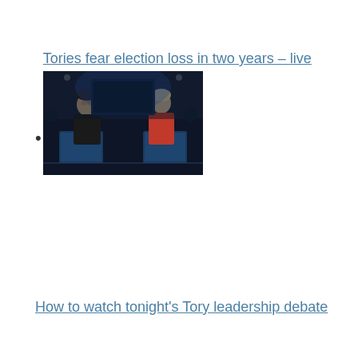Tories fear election loss in two years – live
[Figure (photo): Two people in a TV debate setting; one in dark clothing, one in red clothing, standing at podiums with blue lighting in background.]
How to watch tonight's Tory leadership debate